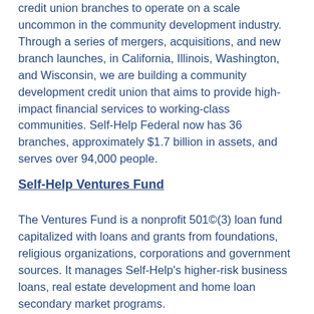credit union branches to operate on a scale uncommon in the community development industry. Through a series of mergers, acquisitions, and new branch launches, in California, Illinois, Washington, and Wisconsin, we are building a community development credit union that aims to provide high-impact financial services to working-class communities. Self-Help Federal now has 36 branches, approximately $1.7 billion in assets, and serves over 94,000 people.
Self-Help Ventures Fund
The Ventures Fund is a nonprofit 501©(3) loan fund capitalized with loans and grants from foundations, religious organizations, corporations and government sources. It manages Self-Help's higher-risk business loans, real estate development and home loan secondary market programs.